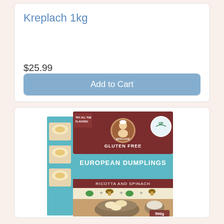Kreplach 1kg
$25.99
Add to Cart
[Figure (photo): Product box of Gluten Free European Dumplings Ricotta and Spinach, 500g, with a bowl of dumplings on the front and ingredient images.]